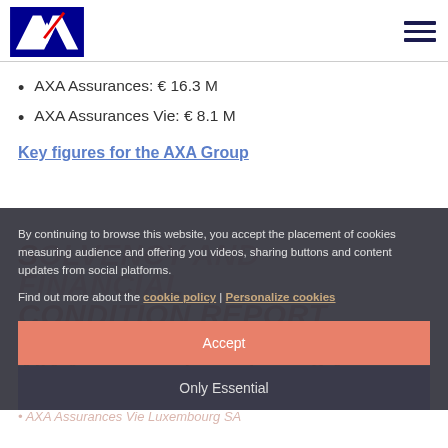AXA logo and navigation menu
AXA Assurances: € 16.3 M
AXA Assurances Vie: € 8.1 M
Key figures for the AXA Group
By continuing to browse this website, you accept the placement of cookies measuring audience and offering you videos, sharing buttons and content updates from social platforms.
Find out more about the cookie policy | Personalize cookies
Accept
Only Essential
SOLVENCY AND FINANCIAL CONDITION REPORT
AXA Assurances Luxembourg S.A.
AXA Assurances Luxembourg SA 2021
AXA Assurances Vie Luxembourg SA